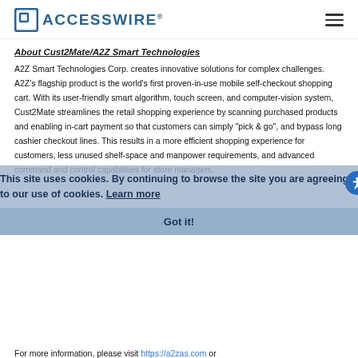ACCESSWIRE®
About Cust2Mate/A2Z Smart Technologies
A2Z Smart Technologies Corp. creates innovative solutions for complex challenges. A2Z's flagship product is the world's first proven-in-use mobile self-checkout shopping cart. With its user-friendly smart algorithm, touch screen, and computer-vision system, Cust2Mate streamlines the retail shopping experience by scanning purchased products and enabling in-cart payment so that customers can simply "pick & go", and bypass long cashier checkout lines. This results in a more efficient shopping experience for customers, less unused shelf-space and manpower requirements, and advanced command and control capabilities for store managers.
For more information, please visit https://a2zas.com or